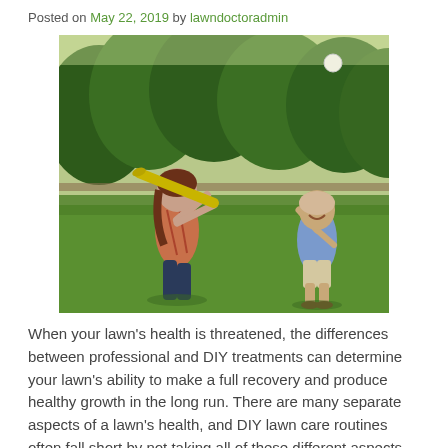Posted on May 22, 2019 by lawndoctoradmin
[Figure (photo): A woman swinging a yellow baseball bat on a green lawn while an older man pitches a ball toward her, with trees in the background.]
When your lawn's health is threatened, the differences between professional and DIY treatments can determine your lawn's ability to make a full recovery and produce healthy growth in the long run. There are many separate aspects of a lawn's health, and DIY lawn care routines often fall short by not taking all of these different aspects